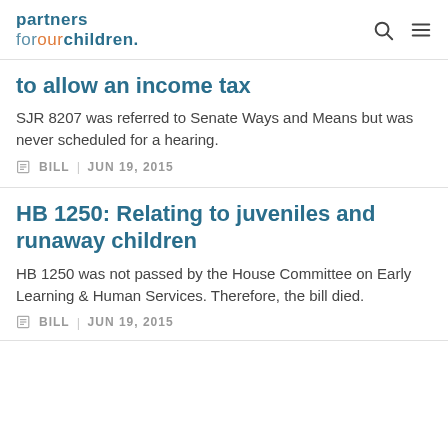partners forourchildren
to allow an income tax
SJR 8207 was referred to Senate Ways and Means but was never scheduled for a hearing.
BILL | JUN 19, 2015
HB 1250: Relating to juveniles and runaway children
HB 1250 was not passed by the House Committee on Early Learning & Human Services. Therefore, the bill died.
BILL | JUN 19, 2015